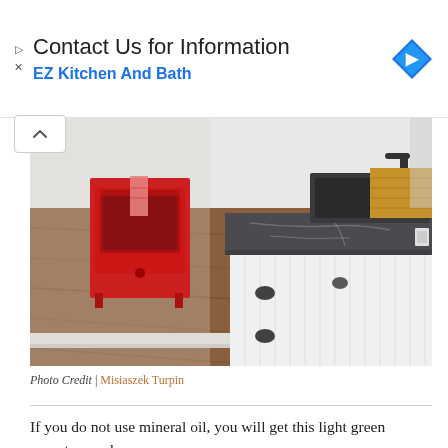Contact Us for Information
EZ Kitchen And Bath
[Figure (photo): Kitchen interior showing dark soapstone countertop on white beadboard cabinets with black hardware, a red oven/stove in the background, and warm wood flooring.]
Photo Credit | Misiaszek Turpin
If you do not use mineral oil, you will get this light green soapstone color.